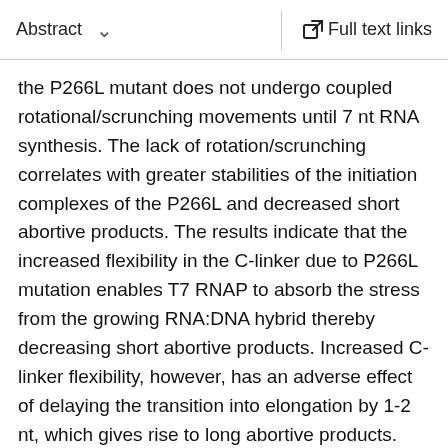Abstract   Full text links
the P266L mutant does not undergo coupled rotational/scrunching movements until 7 nt RNA synthesis. The lack of rotation/scrunching correlates with greater stabilities of the initiation complexes of the P266L and decreased short abortive products. The results indicate that the increased flexibility in the C-linker due to P266L mutation enables T7 RNAP to absorb the stress from the growing RNA:DNA hybrid thereby decreasing short abortive products. Increased C-linker flexibility, however, has an adverse effect of delaying the transition into elongation by 1-2 nt, which gives rise to long abortive products. However, a mutation in the upstream promoter region greatly decreases long abortive products in P266L reactions, rendering the combination of P266L and A-15C promoter a desirable pair for efficient in vitro transcription for RNA production. We conclude that the conformational rigidity in the C-linker region conferred by the proline at